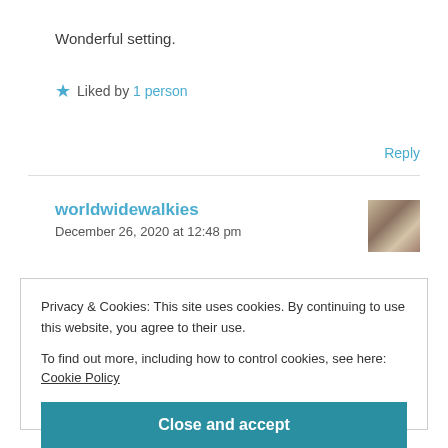Wonderful setting.
★ Liked by 1 person
Reply
worldwidewalkies
December 26, 2020 at 12:48 pm
[Figure (photo): Small avatar photo of a person]
Privacy & Cookies: This site uses cookies. By continuing to use this website, you agree to their use.
To find out more, including how to control cookies, see here: Cookie Policy
Close and accept